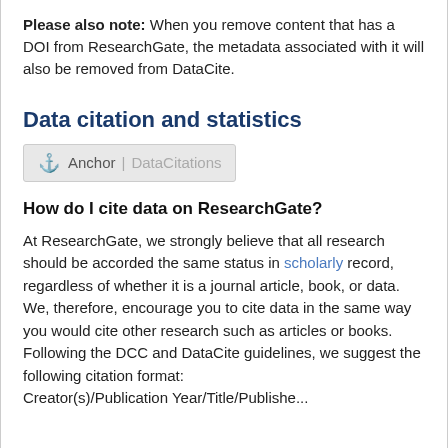Please also note: When you remove content that has a DOI from ResearchGate, the metadata associated with it will also be removed from DataCite.
Data citation and statistics
Anchor | DataCitations
How do I cite data on ResearchGate?
At ResearchGate, we strongly believe that all research should be accorded the same status in scholarly record, regardless of whether it is a journal article, book, or data. We, therefore, encourage you to cite data in the same way you would cite other research such as articles or books. Following the DCC and DataCite guidelines, we suggest the following citation format:
Creator(s)/Publication Year/Title/Publishe...